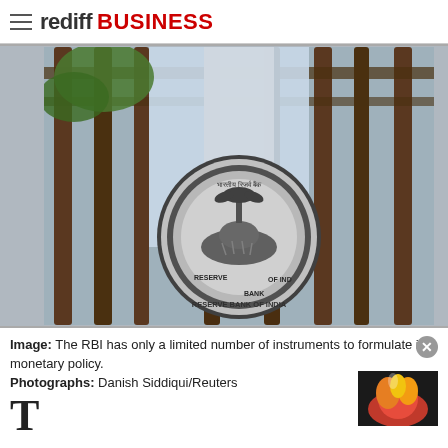rediff BUSINESS
[Figure (photo): Photo of the Reserve Bank of India emblem/seal on a metal gate with iron bars, taken from a low angle. The circular seal reads 'Reserve Bank of India' with a tiger and palm tree emblem in the center.]
Image: The RBI has only a limited number of instruments to formulate its monetary policy.
Photographs: Danish Siddiqui/Reuters
[Figure (photo): Small thumbnail image showing fire/flames with orange and yellow colors.]
T